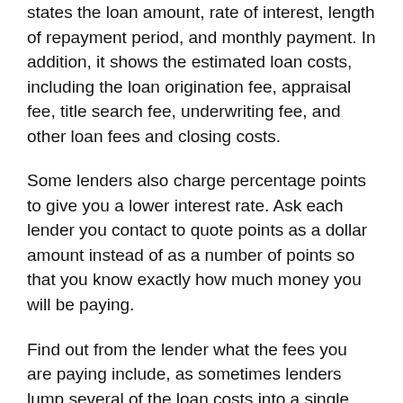states the loan amount, rate of interest, length of repayment period, and monthly payment. In addition, it shows the estimated loan costs, including the loan origination fee, appraisal fee, title search fee, underwriting fee, and other loan fees and closing costs.
Some lenders also charge percentage points to give you a lower interest rate. Ask each lender you contact to quote points as a dollar amount instead of as a number of points so that you know exactly how much money you will be paying.
Find out from the lender what the fees you are paying include, as sometimes lenders lump several of the loan costs into a single fee. Ask for an explanation of any fee you don't understand. Sometimes lenders are willing to negotiate fees and closing costs; therefore, you may get a lender to reduce or even waive certain fees or charge you fewer points. For more information, go to